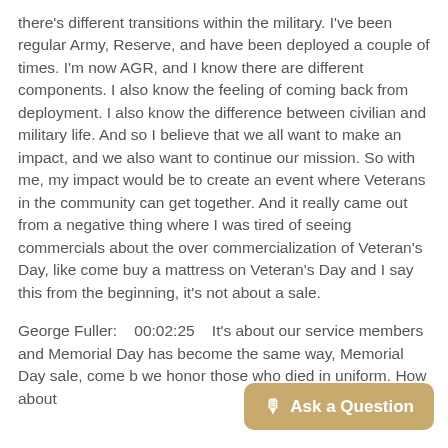there's different transitions within the military.  I've been regular Army, Reserve, and have been deployed a couple of times. I'm now AGR, and I know there are different components. I also know the feeling of coming back from deployment. I also know the difference between civilian and military life. And so I believe that we all want to make an impact, and we also want to continue our mission. So with me, my impact would be to create an event where Veterans in the community can get together. And it really came out from a negative thing where I was tired of seeing commercials about the over commercialization of Veteran's Day, like come buy a mattress on Veteran's Day and I say this from the beginning, it's not about a sale.
George Fuller:    00:02:25    It's about our service members and Memorial Day has become the same way, Memorial Day sale, come b... we honor those who died in uniform. How about...
Ask a Question